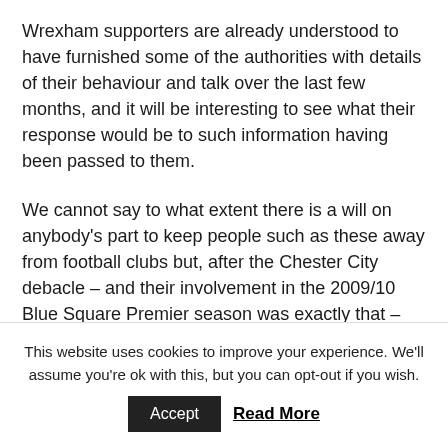Wrexham supporters are already understood to have furnished some of the authorities with details of their behaviour and talk over the last few months, and it will be interesting to see what their response would be to such information having been passed to them.
We cannot say to what extent there is a will on anybody's part to keep people such as these away from football clubs but, after the Chester City debacle – and their involvement in the 2009/10 Blue Square Premier season was exactly that – we may have had cause hope that the likes of the Football Association and the Football Association of Wales
This website uses cookies to improve your experience. We'll assume you're ok with this, but you can opt-out if you wish.
Accept
Read More